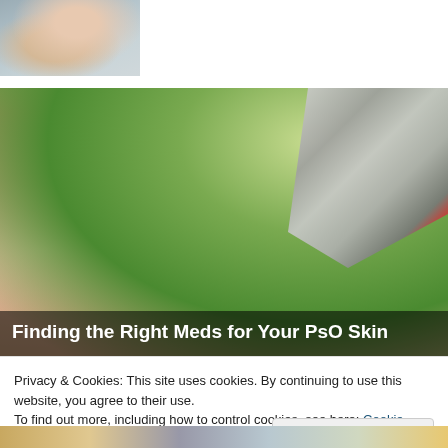[Figure (photo): Partial photo of a woman's face/head, cropped at top-left corner, showing hair and partial face against a light background]
[Figure (photo): Close-up photo of hands — one hand open palm up while another hand holds a cream/ointment tube applying product to the fingertip. Blurred green outdoor background. Title overlay reads 'Finding the Right Meds for Your PsO Skin']
Finding the Right Meds for Your PsO Skin
Privacy & Cookies: This site uses cookies. By continuing to use this website, you agree to their use.
To find out more, including how to control cookies, see here: Cookie Policy
[Figure (photo): Bottom strip showing partial images of various items, partially visible at page bottom]